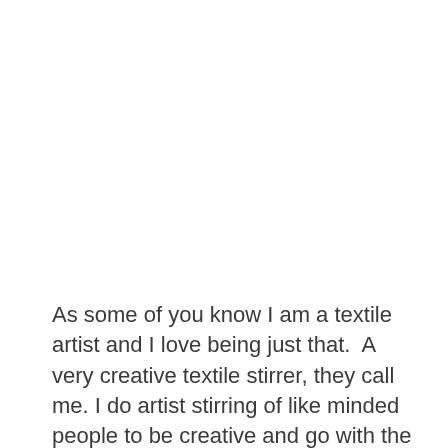As some of you know I am a textile artist and I love being just that.  A very creative textile stirrer, they call me. I do artist stirring of like minded people to be creative and go with the flow. I love being with people who like me think out of the square. I love creating anything from materials